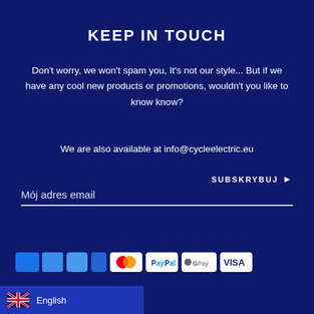KEEP IN TOUCH
Don't worry, we won't spam you, It's not our style... But if we have any cool new products or promotions, wouldn't you like to know know?
We are also available at info@cycleelectric.eu
Mój adres email
SUBSKRYBUJ ▶
[Figure (other): Payment method icons: partial blue cards, Mastercard, PayPal, GPay, Visa]
English